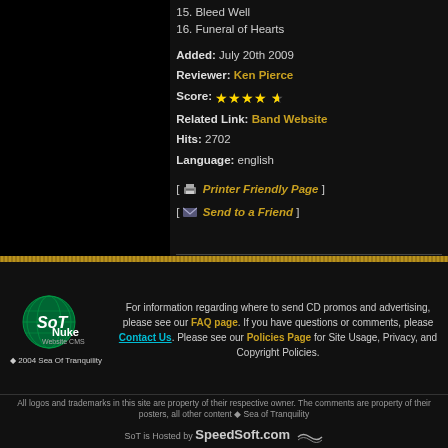15. Bleed Well
16. Funeral of Hearts
Added: July 20th 2009
Reviewer: Ken Pierce
Score: ★★★★½
Related Link: Band Website
Hits: 2702
Language: english
[ 🖨 Printer Friendly Page ] [ ✉ Send to a Friend ]
[ Back to the Reviews Index ]
For information regarding where to send CD promos and advertising, please see our FAQ page. If you have questions or comments, please Contact Us. Please see our Policies Page for Site Usage, Privacy, and Copyright Policies.
All logos and trademarks in this site are property of their respective owner. The comments are property of their posters, all other content © Sea of Tranquility
SoT is Hosted by SpeedSoft.com